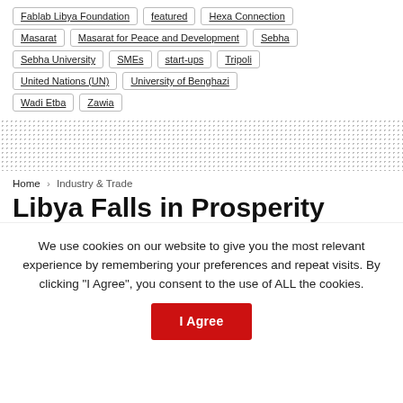Fablab Libya Foundation
featured
Hexa Connection
Masarat
Masarat for Peace and Development
Sebha
Sebha University
SMEs
start-ups
Tripoli
United Nations (UN)
University of Benghazi
Wadi Etba
Zawia
Home > Industry & Trade
Libya Falls in Prosperity
We use cookies on our website to give you the most relevant experience by remembering your preferences and repeat visits. By clicking "I Agree", you consent to the use of ALL the cookies.